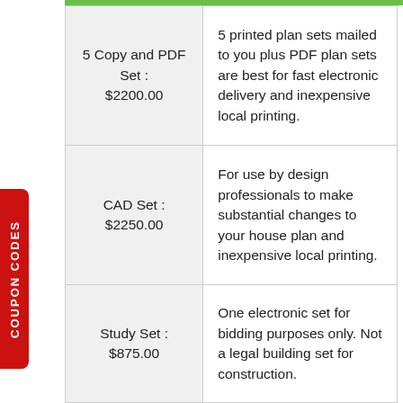| Product | Description |
| --- | --- |
| 5 Copy and PDF Set : $2200.00 | 5 printed plan sets mailed to you plus PDF plan sets are best for fast electronic delivery and inexpensive local printing. |
| CAD Set : $2250.00 | For use by design professionals to make substantial changes to your house plan and inexpensive local printing. |
| Study Set : $875.00 | One electronic set for bidding purposes only. Not a legal building set for construction. |